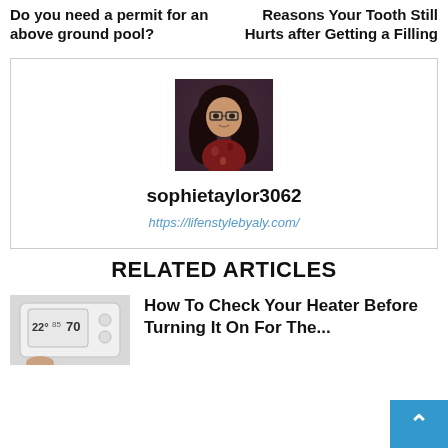Do you need a permit for an above ground pool?
Reasons Your Tooth Still Hurts after Getting a Filling
[Figure (photo): Profile photo of a young woman with glasses and long dark hair, wearing a floral dark red top, in a dark background setting]
sophietaylor3062
https://lifenstylebyaly.com/
RELATED ARTICLES
[Figure (photo): A white digital thermostat mounted on a wall showing temperature readings]
How To Check Your Heater Before Turning It On For The...